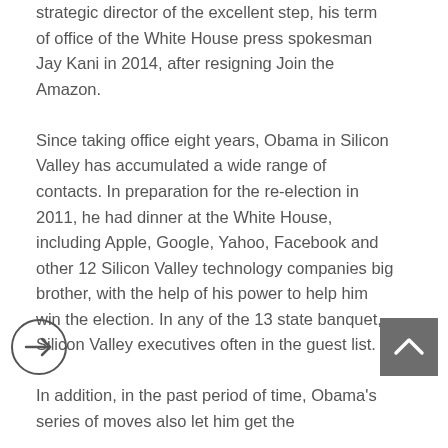strategic director of the excellent step, his term of office of the White House press spokesman Jay Kani in 2014, after resigning Join the Amazon. Since taking office eight years, Obama in Silicon Valley has accumulated a wide range of contacts. In preparation for the re-election in 2011, he had dinner at the White House, including Apple, Google, Yahoo, Facebook and other 12 Silicon Valley technology companies big brother, with the help of his power to help him win the election. In any of the 13 state banquet, Silicon Valley executives often in the guest list. In addition, in the past period of time, Obama's series of moves also let him get the
[Figure (other): A circle with a right-pointing arrow inside (navigation/next button)]
[Figure (other): A grey square button with an upward-pointing chevron arrow (back to top button)]